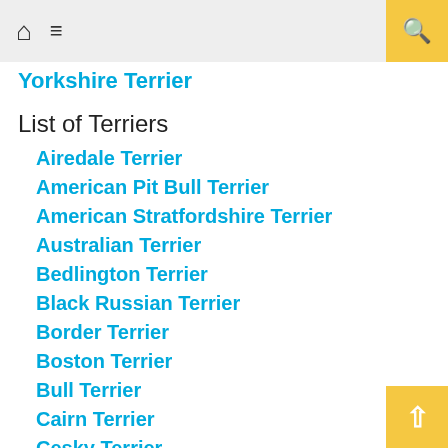Home Menu Search
Yorkshire Terrier
List of Terriers
Airedale Terrier
American Pit Bull Terrier
American Stratfordshire Terrier
Australian Terrier
Bedlington Terrier
Black Russian Terrier
Border Terrier
Boston Terrier
Bull Terrier
Cairn Terrier
Cesky Terrier
Dandie Dinmont Terrier
English Toy Terrier
Glen of Imaal Terrier